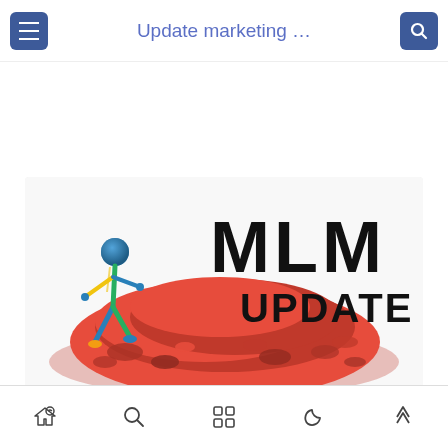Update marketing …
[Figure (illustration): MLM Update banner image: a blue 3D stick figure pushing a large pile of red chain links, with bold black text reading 'MLM UPDATE' on a white/light background]
Navigation bar with home, search, grid, moon/theme, and up-arrow icons